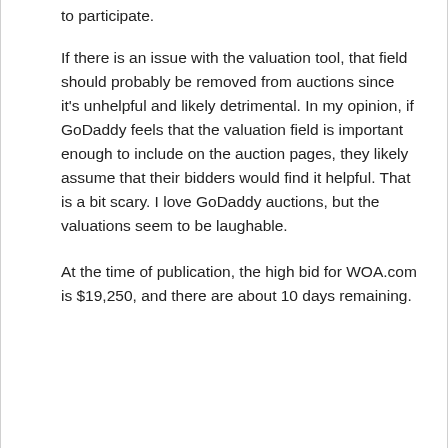to participate.
If there is an issue with the valuation tool, that field should probably be removed from auctions since it's unhelpful and likely detrimental. In my opinion, if GoDaddy feels that the valuation field is important enough to include on the auction pages, they likely assume that their bidders would find it helpful. That is a bit scary. I love GoDaddy auctions, but the valuations seem to be laughable.
At the time of publication, the high bid for WOA.com is $19,250, and there are about 10 days remaining.